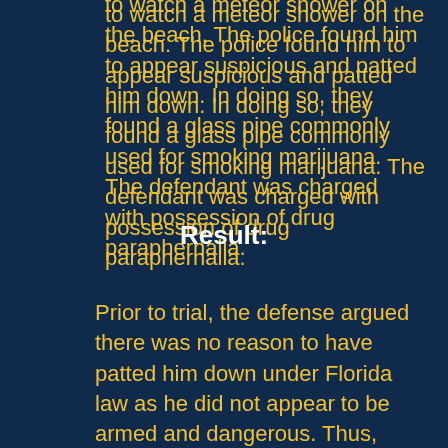to watch a meteor shower on the beach. The police found him to appear suspicious and patted him down. In doing so, they found a glass pipe commonly used for smoking marijuana. The defendant was charged with possession of drug paraphernalia.
Result:
Prior to trial, the defense argued there was no reason to have patted him down under Florida law as he did not appear to be armed and dangerous. Thus, there was unreasonable search and